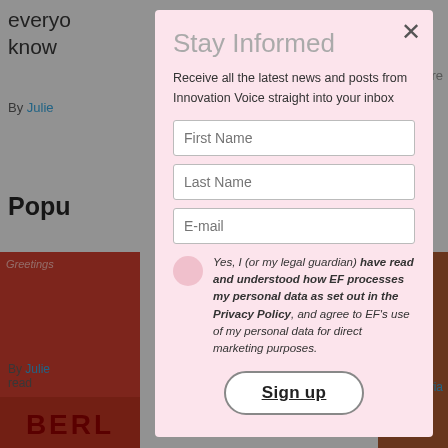everyone know
By Julie
4 min re
Popu
[Figure (photo): Red Berlin postcard image on left side]
10 German expressions everyone should
By Julie read
[Figure (photo): Cards/photos on brown background on right side]
And the beautiful language the world are...
By Livia read
Stay Informed
Receive all the latest news and posts from Innovation Voice straight into your inbox
First Name
Last Name
E-mail
Yes, I (or my legal guardian) have read and understood how EF processes my personal data as set out in the Privacy Policy, and agree to EF's use of my personal data for direct marketing purposes.
Sign up